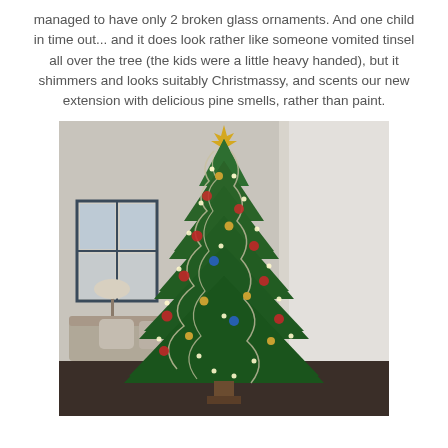managed to have only 2 broken glass ornaments. And one child in time out... and it does look rather like someone vomited tinsel all over the tree (the kids were a little heavy handed), but it shimmers and looks suitably Christmassy, and scents our new extension with delicious pine smells, rather than paint.
[Figure (photo): A tall decorated Christmas tree with tinsel, ornaments, and lights, photographed indoors in a living room with a sofa and window visible in the background.]